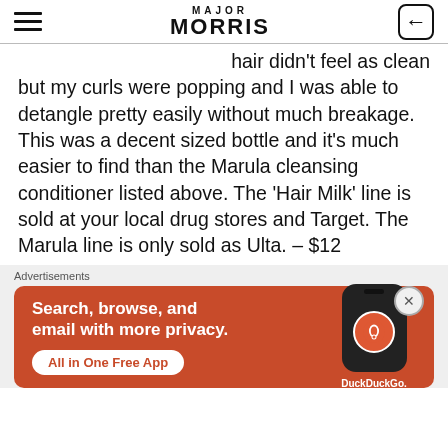MAJOR MORRIS
hair didn't feel as clean but my curls were popping and I was able to detangle pretty easily without much breakage. This was a decent sized bottle and it's much easier to find than the Marula cleansing conditioner listed above. The 'Hair Milk' line is sold at your local drug stores and Target. The Marula line is only sold as Ulta. – $12
[Figure (screenshot): DuckDuckGo advertisement banner with orange background showing 'Search, browse, and email with more privacy. All in One Free App' text with phone mockup and DuckDuckGo logo]